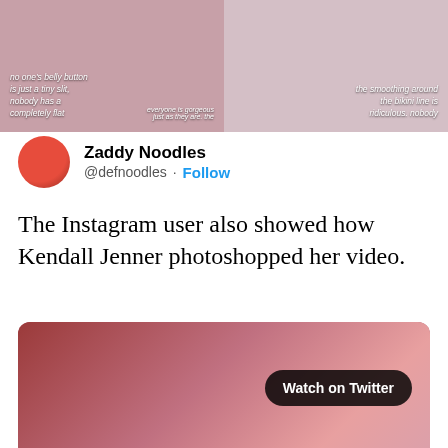[Figure (screenshot): Two-panel image collage showing body positivity content with overlaid italic white text. Left panel: 'no one's belly button is just a tiny slit, nobody has a completely flat' and right side 'everyone is gorgeous just as they are. the'. Right panel: 'the smoothing around the bikini line is ridiculous. nobody']
Zaddy Noodles @defnoodles · Follow
The Instagram user also showed how Kendall Jenner photoshopped her video.
[Figure (screenshot): Video embed showing a figure in red against a pink background with a 'Watch on Twitter' badge overlay]
[Figure (screenshot): Instagram story card from user 'problematicfame' posted 6h ago with progress bars at top, three-dot menu and X close button]
[Figure (screenshot): Advertisement banner: 'Start your day with the best (and worst) of internet culture with Daily Dot's Internet Insider newsletter.' with Daily Dot logo and 'Learn More' button]